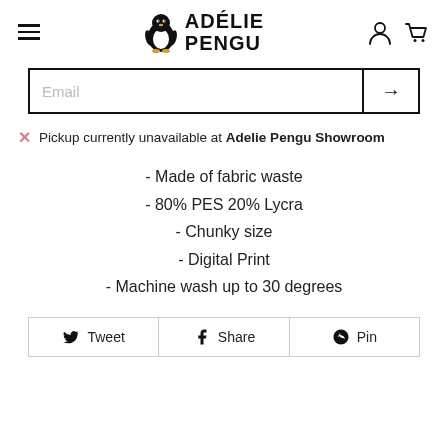ADÉLIE PENGU
Email
Pickup currently unavailable at Adelie Pengu Showroom
- Made of fabric waste
- 80% PES 20% Lycra
- Chunky size
- Digital Print
- Machine wash up to 30 degrees
Tweet  Share  Pin